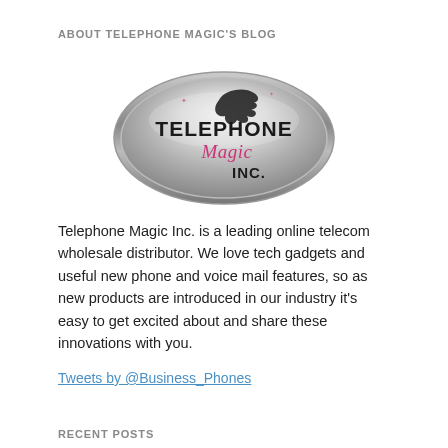ABOUT TELEPHONE MAGIC'S BLOG
[Figure (logo): Telephone Magic Inc. oval metallic logo with company name and stylized hand/phone graphic]
Telephone Magic Inc. is a leading online telecom wholesale distributor. We love tech gadgets and useful new phone and voice mail features, so as new products are introduced in our industry it's easy to get excited about and share these innovations with you.
Tweets by @Business_Phones
RECENT POSTS